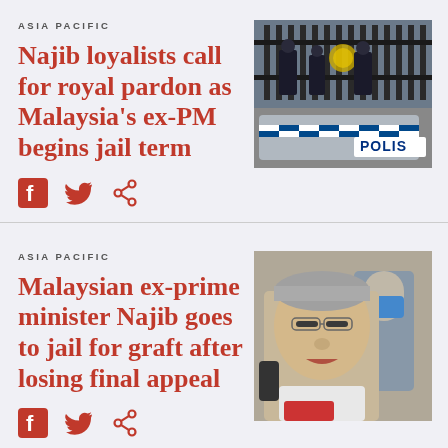ASIA PACIFIC
Najib loyalists call for royal pardon as Malaysia's ex-PM begins jail term
[Figure (photo): Malaysian police officers standing behind ornate gates next to a police car with POLIS written on it]
ASIA PACIFIC
Malaysian ex-prime minister Najib goes to jail for graft after losing final appeal
[Figure (photo): Close-up of an older Asian man with grey hair and glasses, wearing a white shirt, with a man in a blue mask visible behind him]